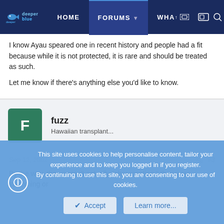[Figure (screenshot): DeeperBlue website navigation bar with logo, HOME, FORUMS (active), WHAT, and icons]
I know Ayau speared one in recent history and people had a fit because while it is not protected, it is rare and should be treated as such.

Let me know if there's anything else you'd like to know.
fuzz
Hawaiian transplant...
Sep 12, 2002
#3
By the way, they weren't actually "shorecasting," they were swimming or
This site uses cookies to help personalise content, tailor your experience and to keep you logged in if you register.
By continuing to use this site, you are consenting to our use of cookies.